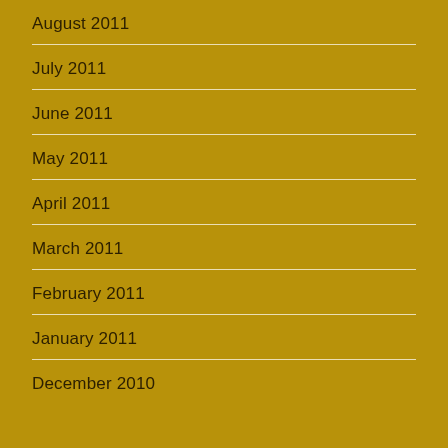August 2011
July 2011
June 2011
May 2011
April 2011
March 2011
February 2011
January 2011
December 2010